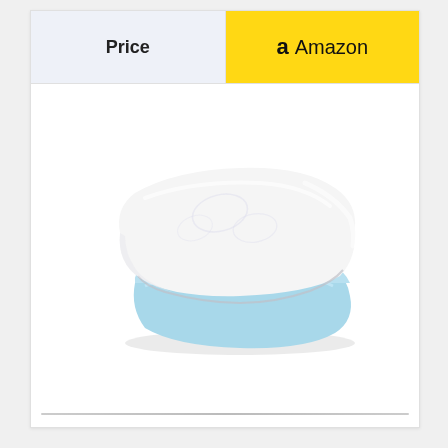| Price | Amazon |
| --- | --- |
[Figure (photo): A memory foam pillow with a white fabric cover on top and a light blue foam base visible at the bottom, shown in a product photo on white background.]